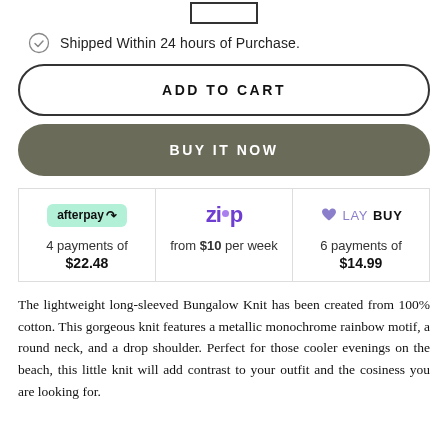[Figure (other): Small rectangle outline at top of page]
Shipped Within 24 hours of Purchase.
ADD TO CART
BUY IT NOW
| Afterpay | Zip | Laybuy |
| --- | --- | --- |
| 4 payments of $22.48 | from $10 per week | 6 payments of $14.99 |
The lightweight long-sleeved Bungalow Knit has been created from 100% cotton. This gorgeous knit features a metallic monochrome rainbow motif, a round neck, and a drop shoulder. Perfect for those cooler evenings on the beach, this little knit will add contrast to your outfit and the cosiness you are looking for.